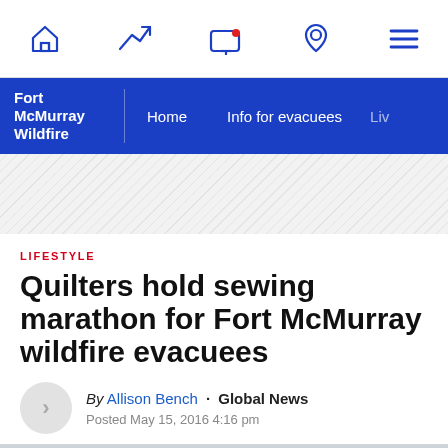Navigation bar with home, trending, live TV, location, and menu icons
Fort McMurray Wildfire | Home | Info for evacuees | Live
[Figure (other): Grey hatched advertisement placeholder area]
LIFESTYLE
Quilters hold sewing marathon for Fort McMurray wildfire evacuees
By Allison Bench · Global News
Posted May 15, 2016 4:16 pm
[Figure (photo): People sitting at tables sewing quilts, partially visible at bottom of page]